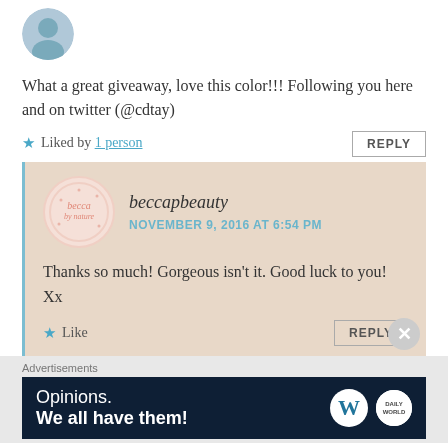[Figure (photo): User avatar circle image at top left]
What a great giveaway, love this color!!! Following you here and on twitter (@cdtay)
★ Liked by 1 person
REPLY
[Figure (logo): beccapbeauty circular logo with pink text]
beccapbeauty
NOVEMBER 9, 2016 AT 6:54 PM
Thanks so much! Gorgeous isn't it. Good luck to you! Xx
★ Like
REPLY
Advertisements
[Figure (screenshot): Dark navy ad banner: Opinions. We all have them! with WordPress and news logos]